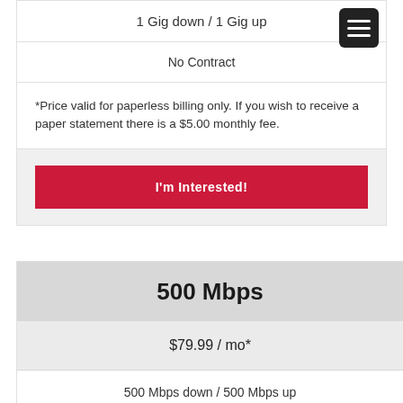1 Gig down / 1 Gig up
No Contract
*Price valid for paperless billing only. If you wish to receive a paper statement there is a $5.00 monthly fee.
I'm Interested!
500 Mbps
$79.99 / mo*
500 Mbps down / 500 Mbps up